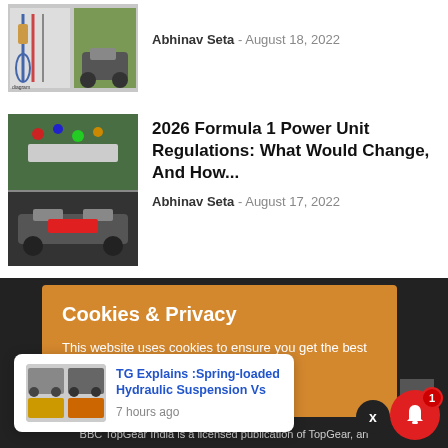[Figure (photo): Thumbnail image with motorcycle suspension diagrams and a motorcycle on a field]
Abhinav Seta - August 18, 2022
[Figure (photo): Collage of Formula 1 race scenes with cars and paddock]
2026 Formula 1 Power Unit Regulations: What Would Change, And How...
Abhinav Seta - August 17, 2022
Cookies & Privacy
This website uses cookies to ensure you get the best experience on our website.
See privacy policy
[Figure (photo): Notification popup with motorcycle images and text: TG Explains :Spring-loaded Hydraulic Suspension Vs, 7 hours ago]
BBC TopGear India is a licensed publication of TopGear, an